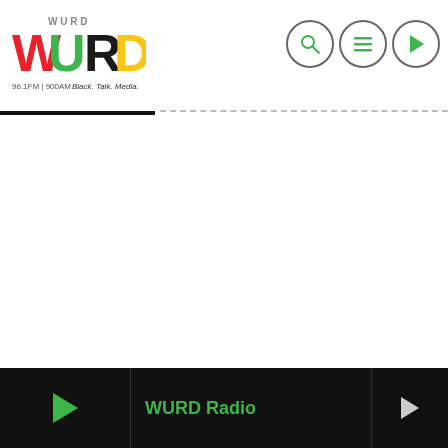[Figure (logo): WURD Radio logo with red W, green U, black R, yellow D letters, tagline '96.1FM | 900AM Black Talk Radio']
[Figure (screenshot): Navigation icons: search (magnifying glass), hamburger menu, and play button in circles]
[Figure (screenshot): Progress bar: black filled portion on left, dashed line on right]
[Figure (screenshot): WURD Radio website bottom player bar with play button, 'WURD Radio' title in green, and next arrow. Black background.]